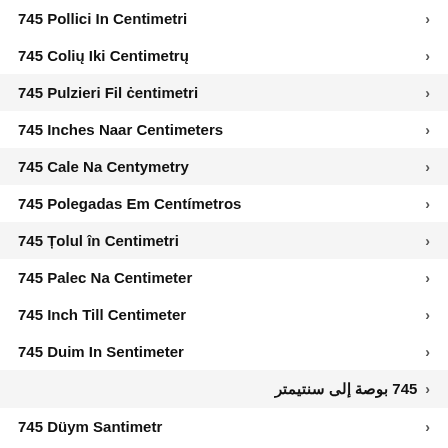745 Pollici In Centimetri
745 Colių Iki Centimetrų
745 Pulzieri Fil ċentimetri
745 Inches Naar Centimeters
745 Cale Na Centymetry
745 Polegadas Em Centímetros
745 Țolul în Centimetri
745 Palec Na Centimeter
745 Inch Till Centimeter
745 Duim In Sentimeter
745 بوصة إلى سنتيمتر
745 Düym Santimetr
745 ইঞ্চি থেকে সেন্টিমিটার